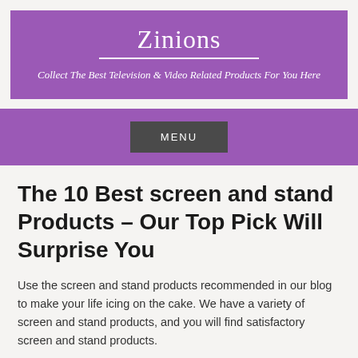Zinions
Collect The Best Television & Video Related Products For You Here
MENU
The 10 Best screen and stand Products – Our Top Pick Will Surprise You
Use the screen and stand products recommended in our blog to make your life icing on the cake. We have a variety of screen and stand products, and you will find satisfactory screen and stand products.